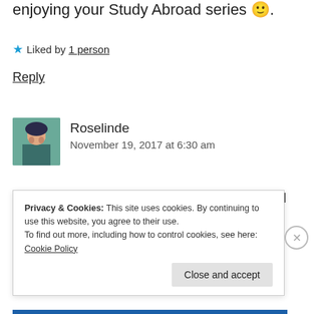enjoying your Study Abroad series 🙂.
★ Liked by 1 person
Reply
Roselinde
November 19, 2017 at 6:30 am
Brighton looks like such a creative place! I really want to visit sometime 🙂
Privacy & Cookies: This site uses cookies. By continuing to use this website, you agree to their use.
To find out more, including how to control cookies, see here: Cookie Policy
Close and accept